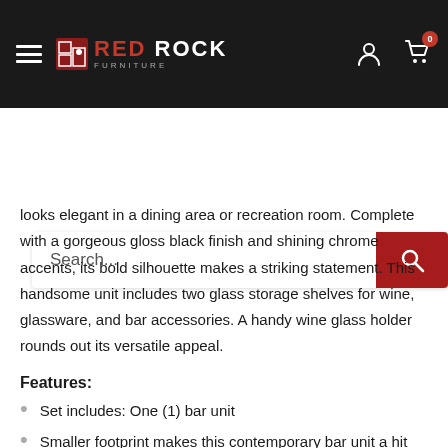RED ROCK Furniture — navigation header with search bar
looks elegant in a dining area or recreation room. Complete with a gorgeous gloss black finish and shining chrome accents, its bold silhouette makes a striking statement. This handsome unit includes two glass storage shelves for wine, glassware, and bar accessories. A handy wine glass holder rounds out its versatile appeal.
Features:
Set includes: One (1) bar unit
Smaller footprint makes this contemporary bar unit a hit
Elegant, clear tempered glass shelves provide strength
Two (2) glass shelves with guardrails and stemware racks add